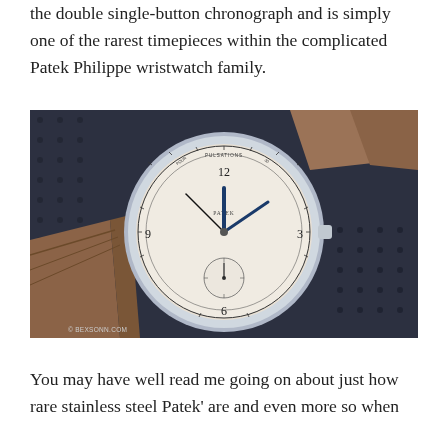the double single-button chronograph and is simply one of the rarest timepieces within the complicated Patek Philippe wristwatch family.
[Figure (photo): Close-up photograph of a vintage Patek Philippe single-button chronograph wristwatch with white/cream dial, blue hands, and chronograph complications, resting on a dark perforated leather surface with a brown suede strap visible. Copyright © BEXSONN.COM]
You may have well read me going on about just how rare stainless steel Patek' are and even more so when